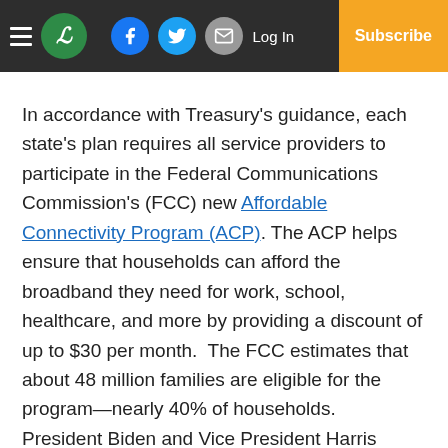Newspaper website header with logo, social icons (Facebook, Twitter, Email), Log In link, and Subscribe button
In accordance with Treasury's guidance, each state's plan requires all service providers to participate in the Federal Communications Commission's (FCC) new Affordable Connectivity Program (ACP). The ACP helps ensure that households can afford the broadband they need for work, school, healthcare, and more by providing a discount of up to $30 per month.  The FCC estimates that about 48 million families are eligible for the program—nearly 40% of households.  President Biden and Vice President Harris recently announced their work to secure commitments from 20 leading internet service